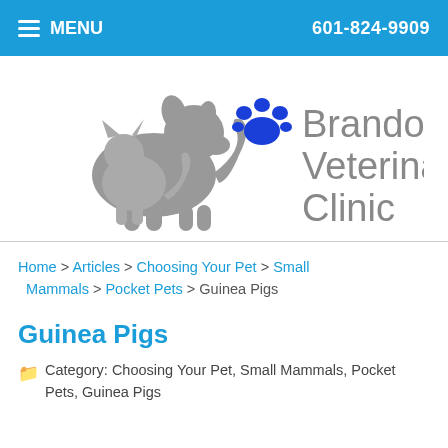MENU   601-824-9909
[Figure (logo): Brandon Veterinary Clinic logo with gray dog and cat silhouettes and a blue paw print]
Home > Articles > Choosing Your Pet > Small Mammals > Pocket Pets > Guinea Pigs
Guinea Pigs
Category: Choosing Your Pet, Small Mammals, Pocket Pets, Guinea Pigs